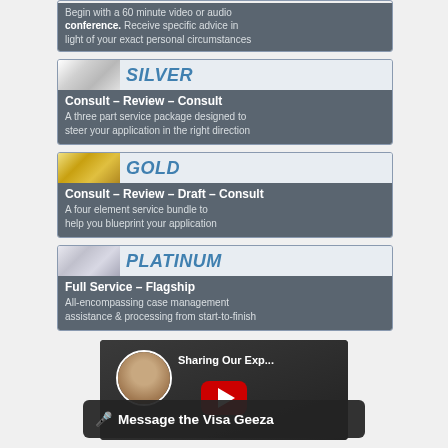[Figure (infographic): Top partial service card showing text about beginning with a 60-minute video or audio conference with advice text]
[Figure (infographic): SILVER service tier card: Consult - Review - Consult. A three part service package designed to steer your application in the right direction]
[Figure (infographic): GOLD service tier card: Consult - Review - Draft - Consult. A four element service bundle to help you blueprint your application]
[Figure (infographic): PLATINUM service tier card: Full Service - Flagship. All-encompassing case management assistance & processing from start-to-finish]
[Figure (screenshot): YouTube video thumbnail showing a person with text 'Sharing Our Exp...' and a play button]
Message the Visa Geeza